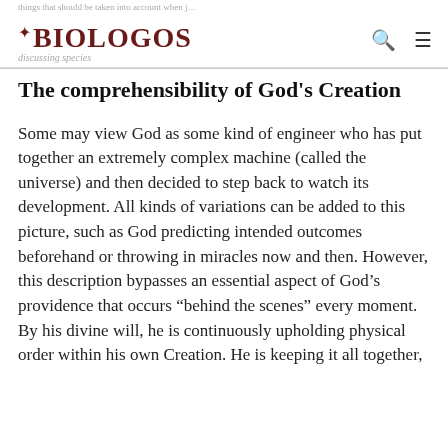BioLogos
The comprehensibility of God's Creation
Some may view God as some kind of engineer who has put together an extremely complex machine (called the universe) and then decided to step back to watch its development. All kinds of variations can be added to this picture, such as God predicting intended outcomes beforehand or throwing in miracles now and then. However, this description bypasses an essential aspect of God’s providence that occurs “behind the scenes” every moment. By his divine will, he is continuously upholding physical order within his own Creation. He is keeping it all together,